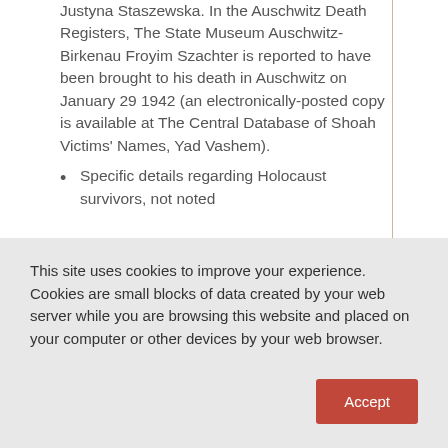Justyna Staszewska. In the Auschwitz Death Registers, The State Museum Auschwitz-Birkenau Froyim Szachter is reported to have been brought to his death in Auschwitz on January 29 1942 (an electronically-posted copy is available at The Central Database of Shoah Victims' Names, Yad Vashem).
Specific details regarding Holocaust survivors, not noted
This site uses cookies to improve your experience. Cookies are small blocks of data created by your web server while you are browsing this website and placed on your computer or other devices by your web browser.